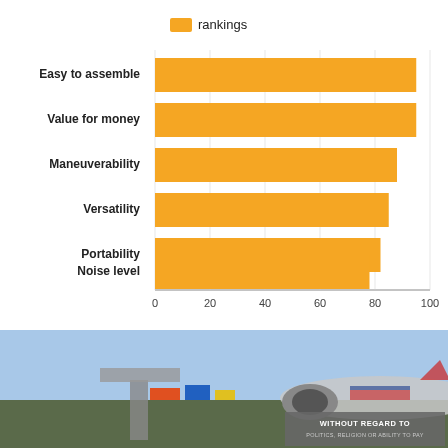[Figure (bar-chart): rankings]
[Figure (photo): Airplane cargo loading photo with text overlay: WITHOUT REGARD TO POLITICS, RELIGION OR ABILITY TO PAY]